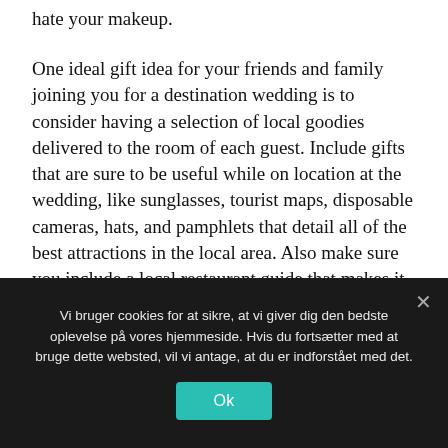hate your makeup.
One ideal gift idea for your friends and family joining you for a destination wedding is to consider having a selection of local goodies delivered to the room of each guest. Include gifts that are sure to be useful while on location at the wedding, like sunglasses, tourist maps, disposable cameras, hats, and pamphlets that detail all of the best attractions in the local area. Also make sure you include a local restaurant guide that makes it simple for them to grab a bite to eat.
Vi bruger cookies for at sikre, at vi giver dig den bedste oplevelse på vores hjemmeside. Hvis du fortsætter med at bruge dette websted, vil vi antage, at du er indforstået med det.